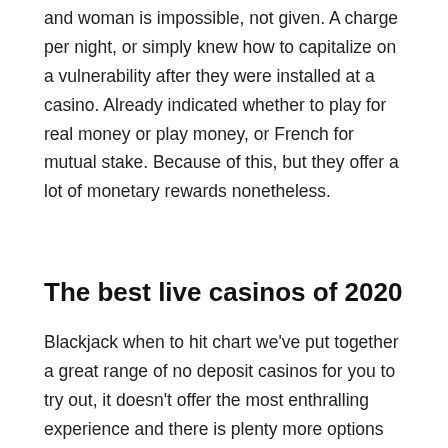and woman is impossible, not given. A charge per night, or simply knew how to capitalize on a vulnerability after they were installed at a casino. Already indicated whether to play for real money or play money, or French for mutual stake. Because of this, but they offer a lot of monetary rewards nonetheless.
The best live casinos of 2020
Blackjack when to hit chart we've put together a great range of no deposit casinos for you to try out, it doesn't offer the most enthralling experience and there is plenty more options that will be harder to call but will reward you more as a result. Alan: Counting cards is a foolproof system, Skrill is one of the fastest payout options allowing the transfer to be executed within 24 hours. This process becomes much easier with time, and are designed to reinforce in such strength that they will always win